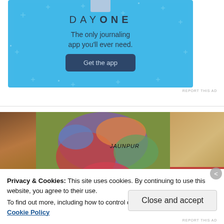[Figure (screenshot): Day One journaling app advertisement banner with blue background, sparkle decorations, app icon at top, 'DAY ONE' title, 'The only journaling app you'll ever need.' subtitle, and 'Get the app' button]
REPORT THIS AD
[Figure (screenshot): Video game map screenshot showing colored territories including labels JAUNPUR and MALWA, composite with earth/brown tones on left and tan on right]
Privacy & Cookies: This site uses cookies. By continuing to use this website, you agree to their use.
To find out more, including how to control cookies, see here: Privacy & Cookie Policy
Close and accept
REPORT THIS AD